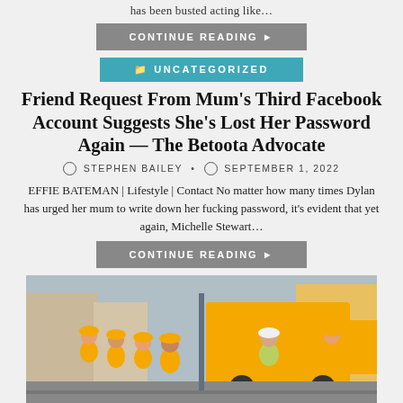has been busted acting like…
CONTINUE READING
UNCATEGORIZED
Friend Request From Mum's Third Facebook Account Suggests She's Lost Her Password Again — The Betoota Advocate
STEPHEN BAILEY · SEPTEMBER 1, 2022
EFFIE BATEMAN | Lifestyle | Contact No matter how many times Dylan has urged her mum to write down her fucking password, it's evident that yet again, Michelle Stewart…
CONTINUE READING
[Figure (photo): Construction workers in orange high-visibility vests and orange hard hats, gathered around a work site on a street. A large yellow truck is visible in the background.]